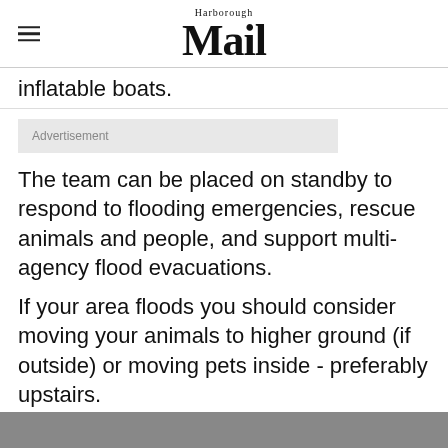Harborough Mail
inflatable boats.
Advertisement
The team can be placed on standby to respond to flooding emergencies, rescue animals and people, and support multi-agency flood evacuations.
If your area floods you should consider moving your animals to higher ground (if outside) or moving pets inside - preferably upstairs.